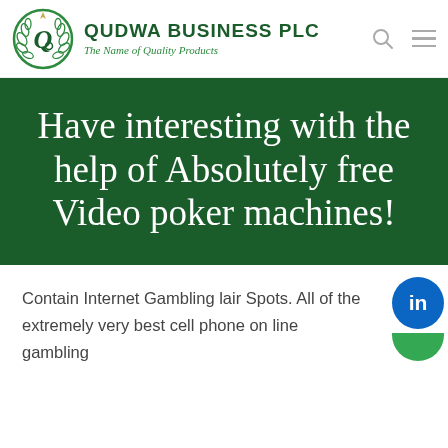QUDWA BUSINESS PLC — The Name of Quality Products
Have interesting with the help of Absolutely free Video poker machines!
Contain Internet Gambling lair Spots. All of the extremely very best cell phone on line gambling